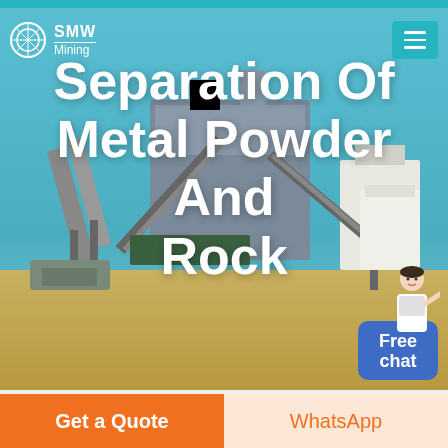[Figure (screenshot): Mining plant hero banner with sky background, industrial equipment including conveyor belts and processing plant, overlaid with large white bold title text 'Separation Of Metal Powder And Rock'. Navigation bar with SMW Mining logo and hamburger menu icon. Free chat bubble with avatar in bottom right corner.]
Home / Products
Different Machines To Meet All Need
Get a Quote
WhatsApp